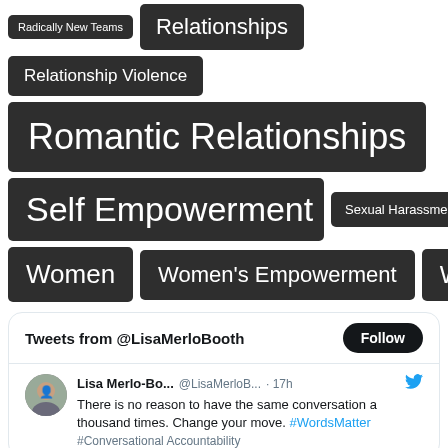Radically New Teams
Relationships
Relationship Violence
Romantic Relationships
Self Empowerment
Sexual Harassment
Women
Women's Empowerment
Work
[Figure (screenshot): Twitter widget showing tweets from @LisaMerloBooth with a Follow button and a tweet by Lisa Merlo-Bo... @LisaMerloB... · 17h reading: There is no reason to have the same conversation a thousand times. Change your move. #WordsMatter]
Tweets from @LisaMerloBooth
Lisa Merlo-Bo... @LisaMerloB... · 17h There is no reason to have the same conversation a thousand times. Change your move. #WordsMatter